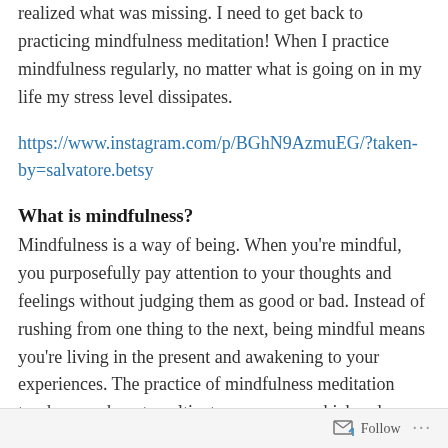realized what was missing. I need to get back to practicing mindfulness meditation! When I practice mindfulness regularly, no matter what is going on in my life my stress level dissipates.
https://www.instagram.com/p/BGhN9AzmuEG/?taken-by=salvatore.betsy
What is mindfulness?
Mindfulness is a way of being. When you’re mindful, you purposefully pay attention to your thoughts and feelings without judging them as good or bad. Instead of rushing from one thing to the next, being mindful means you’re living in the present and awakening to your experiences. The practice of mindfulness meditation teaches you how to cultivate awareness, which reduces stress.
Follow ...